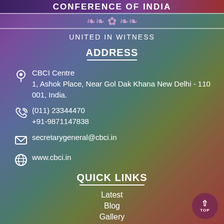CONFERENCE OF INDIA
UNITED IN WITNESS
ADDRESS
CBCI Centre
1, Ashok Place, Near Gol Dak Khana New Delhi - 110 001, India.
(011) 23344470
+91-9871147838
secretarygeneral@cbci.in
www.cbci.in
QUICK LINKS
Latest
Blog
Gallery